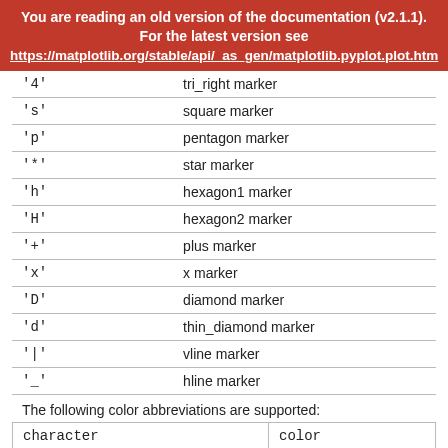You are reading an old version of the documentation (v2.1.1). For the latest version see https://matplotlib.org/stable/api/_as_gen/matplotlib.pyplot.plot.html
| character | description |
| --- | --- |
| '4' | tri_right marker |
| 's' | square marker |
| 'p' | pentagon marker |
| '*' | star marker |
| 'h' | hexagon1 marker |
| 'H' | hexagon2 marker |
| '+' | plus marker |
| 'x' | x marker |
| 'D' | diamond marker |
| 'd' | thin_diamond marker |
| '|' | vline marker |
| '_' | hline marker |
The following color abbreviations are supported:
| character | color |
| --- | --- |